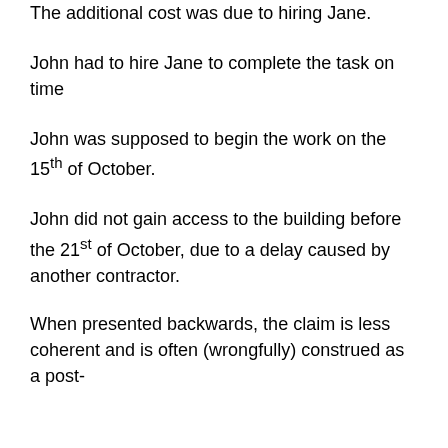The additional cost was due to hiring Jane.
John had to hire Jane to complete the task on time
John was supposed to begin the work on the 15th of October.
John did not gain access to the building before the 21st of October, due to a delay caused by another contractor.
When presented backwards, the claim is less coherent and is often (wrongfully) construed as a post-